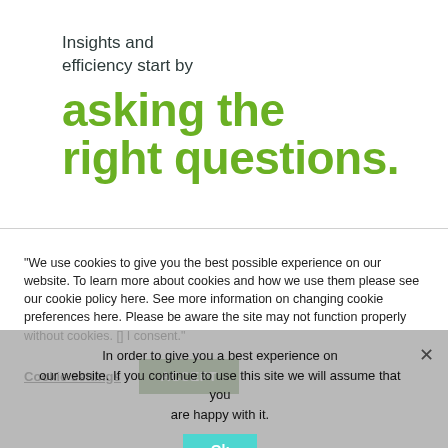Insights and efficiency start by
asking the right questions.
"We use cookies to give you the best possible experience on our website. To learn more about cookies and how we use them please see our cookie policy here. See more information on changing cookie preferences here. Please be aware the site may not function properly without cookies. [] I consent."
Cookie settings
ACCEPT
In order to give you a best experience on our website. If you continue to use this site we will assume that you are happy with it.
Ok